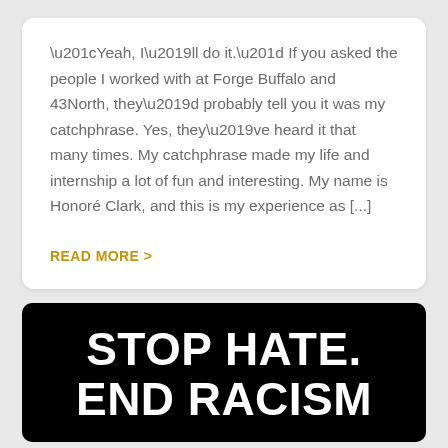“Yeah, I’ll do it.” If you asked the people I worked with at Forge Buffalo and 43North, they’d probably tell you it was my catchphrase. Yes, they’ve heard it that many times. My catchphrase made my life and internship a lot of fun and interesting. My name is Honoré Clark, and this is my experience as [...]
READ MORE >
STOP HATE. END RACISM